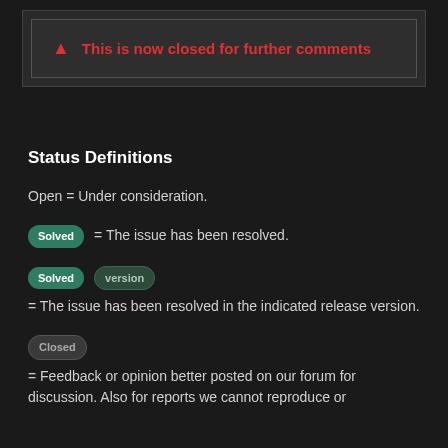⚠ This is now closed for further comments
Status Definitions
Open = Under consideration.
Solved = The issue has been resolved.
Solved version = The issue has been resolved in the indicated release version.
Closed = Feedback or opinion better posted on our forum for discussion. Also for reports we cannot reproduce or